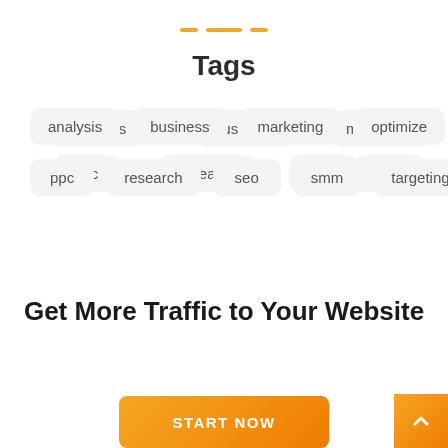Tags
analysis
business
marketing
optimize
ppc
research
seo
smm
targeting
Get More Traffic to Your Website
START NOW